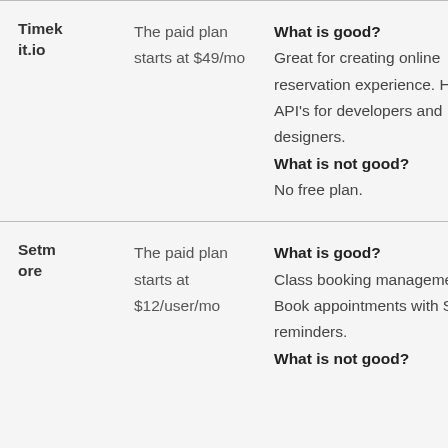|  |  |  |
| --- | --- | --- |
| Timekit.io | The paid plan starts at $49/mo | What is good?
Great for creating online reservation experience. Helpful API's for developers and designers.
What is not good?
No free plan. |
| Setmore | The paid plan starts at $12/user/mo | What is good?
Class booking management. Book appointments with SMS reminders.
What is not good? |